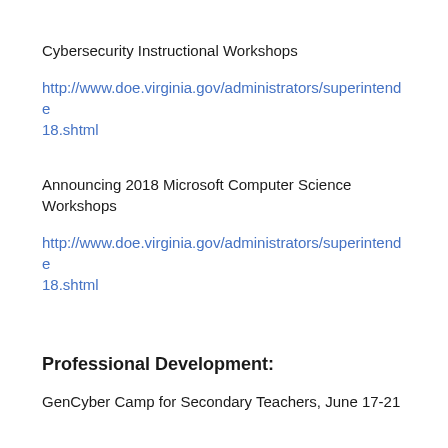Cybersecurity Instructional Workshops
http://www.doe.virginia.gov/administrators/superintende 18.shtml
Announcing 2018 Microsoft Computer Science Workshops
http://www.doe.virginia.gov/administrators/superintende 18.shtml
Professional Development:
GenCyber Camp for Secondary Teachers, June 17-21